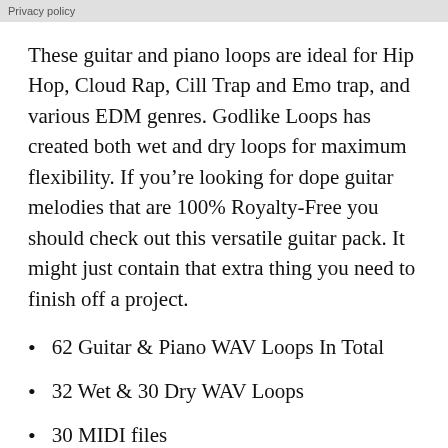Privacy policy
These guitar and piano loops are ideal for Hip Hop, Cloud Rap, Cill Trap and Emo trap, and various EDM genres. Godlike Loops has created both wet and dry loops for maximum flexibility. If you’re looking for dope guitar melodies that are 100% Royalty-Free you should check out this versatile guitar pack. It might just contain that extra thing you need to finish off a project.
62 Guitar & Piano WAV Loops In Total
32 Wet & 30 Dry WAV Loops
30 MIDI files
44.1kHz/24-Bit WAV